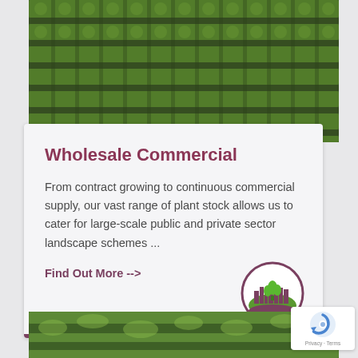[Figure (photo): Aerial view of rows of green plant stock/nursery plants in dark soil]
Wholesale Commercial
From contract growing to continuous commercial supply, our vast range of plant stock allows us to cater for large-scale public and private sector landscape schemes ...
Find Out More -->
[Figure (logo): Circular logo with city skyline and green landscape/plant motif in purple and green]
[Figure (photo): Close-up photo of green plants/seedlings in trays or on a green surface]
[Figure (other): Google reCAPTCHA badge with Privacy and Terms links]